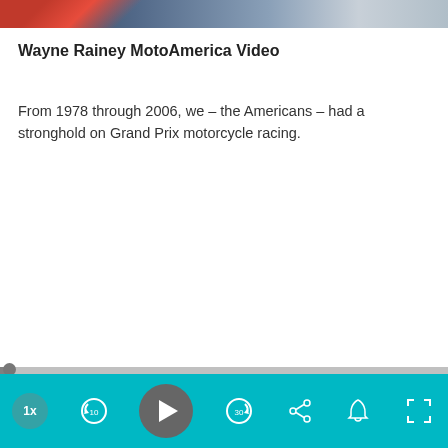[Figure (screenshot): Video thumbnail showing motorcycle racing scene with riders in racing gear, partial view at top of page]
Wayne Rainey MotoAmerica Video
From 1978 through 2006, we – the Americans – had a stronghold on Grand Prix motorcycle racing.
[Figure (screenshot): Video player controls bar with teal background showing: 1x speed button, rewind 10s, play button, forward 30s, share button, bell/notification button, and fullscreen button]